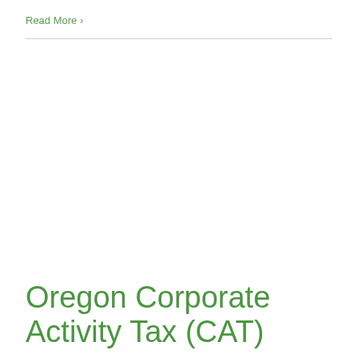Read More >
Oregon Corporate Activity Tax (CAT)